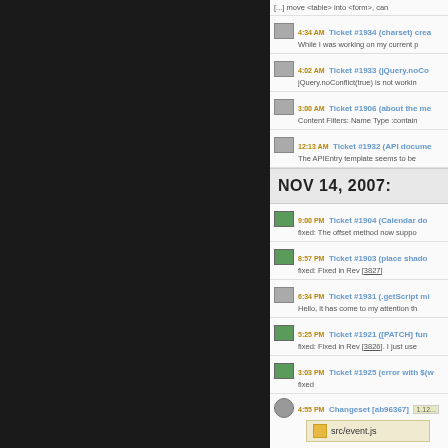[...] move <table> into <form>, can
4:34 AM Ticket #1934 (charset) crea - While I was working on my current p
4:02 AM Ticket #1933 (jQuery.noConflict) - jQuery.noConflict(true) is not workin
3:00 AM Ticket #1906 (about the me) - Content Filters: Name Type :contain
12:13 AM Ticket #1932 (API docume) - The APIEntry template seems to be
NOV 14, 2007:
9:00 PM Ticket #1904 (Calendar do) - fixed: The offset method now suppo
8:57 PM Ticket #1903 (place shado) - fixed: Fixed in Rev [3827]
6:34 PM Ticket #1931 (.getScript mi) - Hello, it has come to my attention th
5:25 PM Ticket #1921 ([PATCH] fun) - fixed: Fixed in Rev [3826]. I just use
3:03 PM Ticket #1925 (error with $(w) - fixed
4:55 PM Changeset [ab96367] 1.12... - src/event.js - Fix for #1925 and removed some u
4:10 PM Ticket #1930 (Traversing w) - We use the following query...